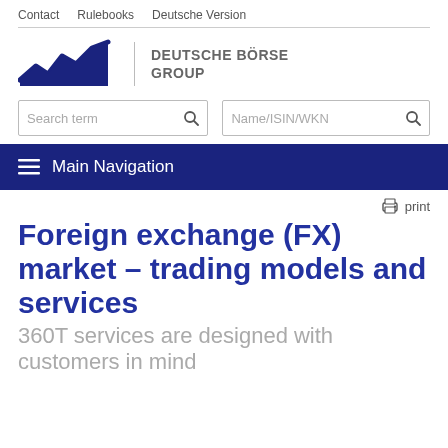Contact   Rulebooks   Deutsche Version
[Figure (logo): Deutsche Börse Group logo with zigzag line graphic and text 'DEUTSCHE BÖRSE GROUP']
Search term | Name/ISIN/WKN
Main Navigation
print
Foreign exchange (FX) market – trading models and services
360T services are designed with customers in mind